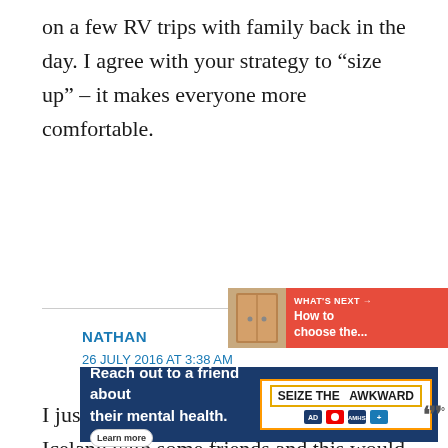on a few RV trips with family back in the day. I agree with your strategy to “size up” – it makes everyone more comfortable.
NATHAN
26 JULY 2016 AT 3:38 AM
I just completed a two week tour of Iceland with some friends and this would have been perfect! It looks small but like it has enough room.
[Figure (screenshot): Social sharing widget with heart icon (black circle), blue rectangle, share icon (red circle), count badge showing 82]
[Figure (screenshot): What's next bar showing thumbnail of wooden cabin door and text 'How to choose the...']
[Figure (screenshot): Advertisement banner: 'Reach out to a friend about their mental health. Learn more' with SEIZE THE AWKWARD logo and sponsor logos. TMC logo at right.]